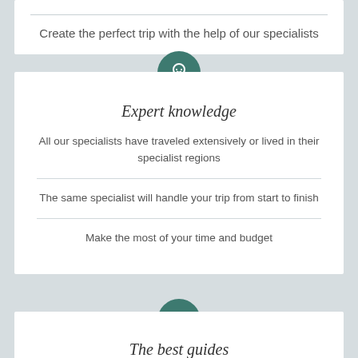Create the perfect trip with the help of our specialists
[Figure (illustration): Teal circular icon with a lightbulb/head symbol]
Expert knowledge
All our specialists have traveled extensively or lived in their specialist regions
The same specialist will handle your trip from start to finish
Make the most of your time and budget
[Figure (illustration): Teal circular icon with a person/seat symbol]
The best guides
Make the difference between a great trip and...